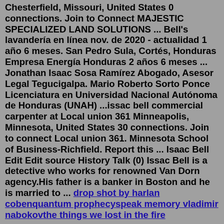Chesterfield, Missouri, United States 0 connections. Join to Connect MAJESTIC SPECIALIZED LAND SOLUTIONS ... Bell's lavandería en línea nov. de 2020 - actualidad 1 año 6 meses. San Pedro Sula, Cortés, Honduras Empresa Energía Honduras 2 años 6 meses ... Jonathan Isaac Sosa Ramírez Abogado, Asesor Legal Tegucigalpa. Mario Roberto Sorto Ponce Licenciatura en Universidad Nacional Autónoma de Honduras (UNAH) ...issac bell commercial carpenter at Local union 361 Minneapolis, Minnesota, United States 30 connections. Join to connect Local union 361. Minnesota School of Business-Richfield. Report this ... Isaac Bell Edit Edit source History Talk (0) Issac Bell is a detective who works for renowned Van Dorn agency.His father is a banker in Boston and he is married to ... drop shot by harlan cobenquantum prophecyspeak memory vladimir nabokovthe things we lost in the fire